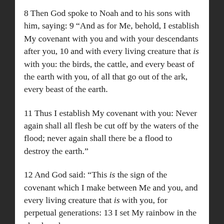8 Then God spoke to Noah and to his sons with him, saying: 9 “And as for Me, behold, I establish My covenant with you and with your descendants after you, 10 and with every living creature that is with you: the birds, the cattle, and every beast of the earth with you, of all that go out of the ark, every beast of the earth.
11 Thus I establish My covenant with you: Never again shall all flesh be cut off by the waters of the flood; never again shall there be a flood to destroy the earth.”
12 And God said: “This is the sign of the covenant which I make between Me and you, and every living creature that is with you, for perpetual generations: 13 I set My rainbow in the cloud, and